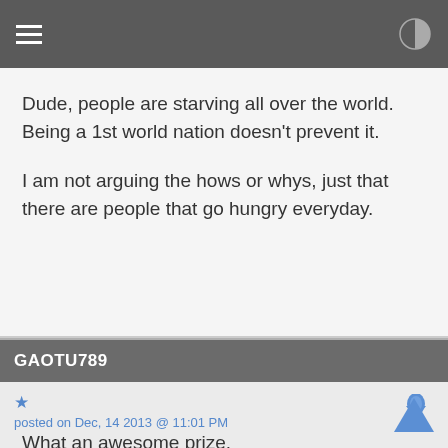Dude, people are starving all over the world. Being a 1st world nation doesn't prevent it.

I am not arguing the hows or whys, just that there are people that go hungry everyday.
GAOTU789
posted on Dec, 14 2013 @ 11:01 PM
Thanks for listening everyone.

We love having you folks tuning in with us.

Congrats to our winner of the ATS Live laptop, Elizabeth.

What an awesome prize.